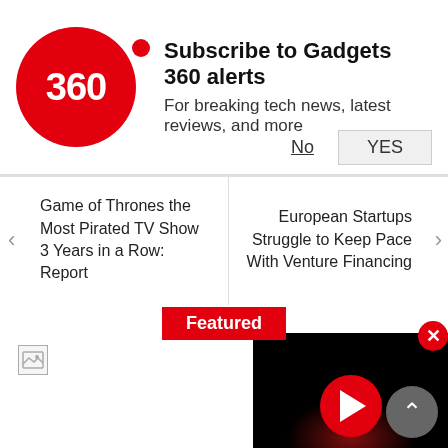Subscribe to Gadgets 360 alerts
For breaking tech news, latest reviews, and more
No   YES
Game of Thrones the Most Pirated TV Show 3 Years in a Row: Report
European Startups Struggle to Keep Pace With Venture Financing
Featured
[Figure (screenshot): Broken image placeholder icon (top-left) and a video player showing a red play button on a black background with red glow effect, plus a circular red close button and a grey scroll-up arrow button]